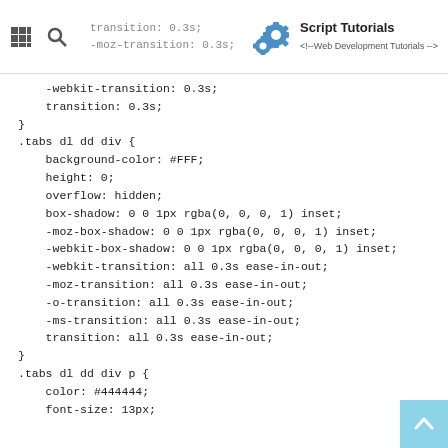Script Tutorials <!-- Web Development Tutorials -->
-webkit-transition: 0.3s;
    transition: 0.3s;
}
.tabs dl dd div {
    background-color: #FFF;
    height: 0;
    overflow: hidden;
    box-shadow: 0 0 1px rgba(0, 0, 0, 1) inset;
    -moz-box-shadow: 0 0 1px rgba(0, 0, 0, 1) inset;
    -webkit-box-shadow: 0 0 1px rgba(0, 0, 0, 1) inset;
    -webkit-transition: all 0.3s ease-in-out;
    -moz-transition: all 0.3s ease-in-out;
    -o-transition: all 0.3s ease-in-out;
    -ms-transition: all 0.3s ease-in-out;
    transition: all 0.3s ease-in-out;
}
.tabs dl dd div p {
    color: #444444;
    font-size: 13px;